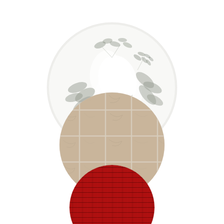[Figure (illustration): Three circular texture swatches arranged vertically. Top circle: white/light grey floral and leaf watercolor pattern. Middle circle: beige/tan marble-look ceramic tile pattern with grid lines. Bottom circle (partially visible): deep red/crimson woven or knit textile texture.]